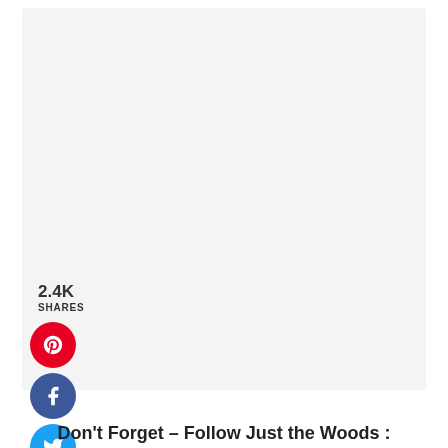2.4K
SHARES
[Figure (infographic): Social share buttons: Pinterest (red circle), Facebook (dark blue circle), Twitter (light blue circle), Email (green circle) stacked vertically on left side. Right side has a teal heart button, 2.4K count, and a white share button with shadow.]
Don't Forget – Follow Just the Woods :